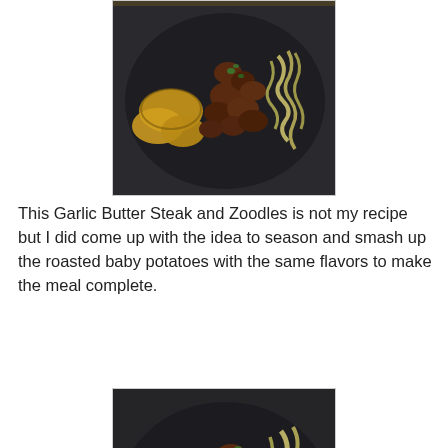[Figure (photo): A dark plate with garlic butter steak pieces, smashed roasted baby potatoes, and zoodles (zucchini noodles) with herbs, photographed from above on a dark surface.]
This Garlic Butter Steak and Zoodles is not my recipe but I did come up with the idea to season and smash up the roasted baby potatoes with the same flavors to make the meal complete.
[Figure (photo): A closer view of the same dark plate with garlic butter steak pieces, smashed roasted baby potatoes, and zoodles with herbs.]